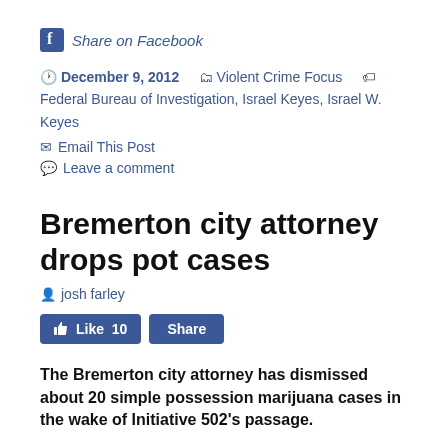[Figure (logo): Facebook share button with 'f' icon and 'Share on Facebook' text in blue italic]
December 9, 2012   Violent Crime Focus   Federal Bureau of Investigation, Israel Keyes, Israel W. Keyes
Email This Post
Leave a comment
Bremerton city attorney drops pot cases
josh farley
[Figure (other): Facebook Like 10 and Share buttons]
The Bremerton city attorney has dismissed about 20 simple possession marijuana cases in the wake of Initiative 502's passage.